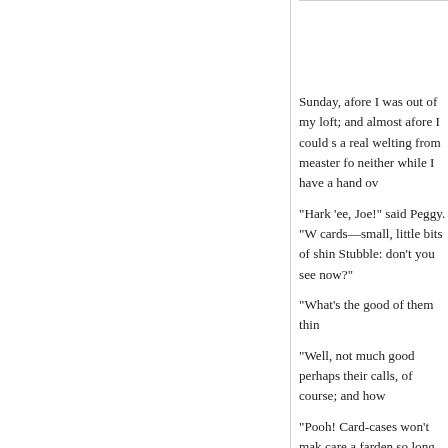Sunday, afore I was out of my loft; and almost afore I could s a real welting from measter fo neither while I have a hand ov
"Hark 'ee, Joe!" said Peggy. "W cards—small, little bits of shin Stubble: don't you see now?"
"What's the good of them thin
"Well, not much good perhaps their calls, of course; and how
"Pooh! Card-cases won't mak care a farden so long as thee
At that moment, Maggie, who Benjamin and Bob in such a l to give them all a drive round
Mrs Stubble and Maggie were Eventually, however, they all p whip with a nonchalant air, wh in-hand. A group of women st especially noticing the flowers immediately a cloud of dist